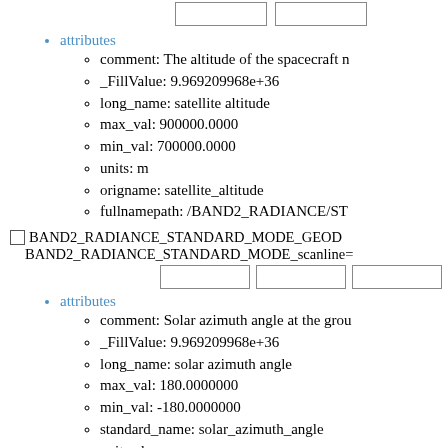[Figure (other): Two empty input boxes side by side]
attributes
comment: The altitude of the spacecraft n
_FillValue: 9.969209968e+36
long_name: satellite altitude
max_val: 900000.0000
min_val: 700000.0000
units: m
origname: satellite_altitude
fullnamepath: /BAND2_RADIANCE/ST
BAND2_RADIANCE_STANDARD_MODE_GEOD
BAND2_RADIANCE_STANDARD_MODE_scanline=
[Figure (other): Three empty input boxes side by side]
attributes
comment: Solar azimuth angle at the grou
_FillValue: 9.969209968e+36
long_name: solar azimuth angle
max_val: 180.0000000
min_val: -180.0000000
standard_name: solar_azimuth_angle
units: degree
origname: solar_azimuth_angle